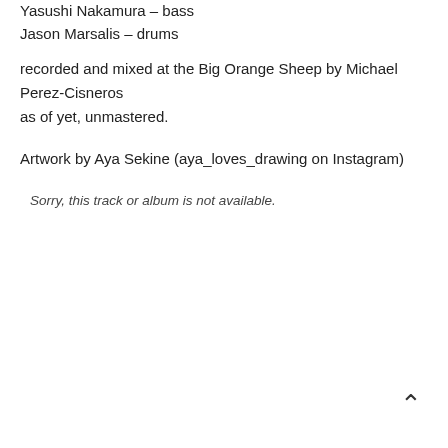Yasushi Nakamura – bass
Jason Marsalis – drums
recorded and mixed at the Big Orange Sheep by Michael Perez-Cisneros
as of yet, unmastered.
Artwork by Aya Sekine (aya_loves_drawing on Instagram)
Sorry, this track or album is not available.